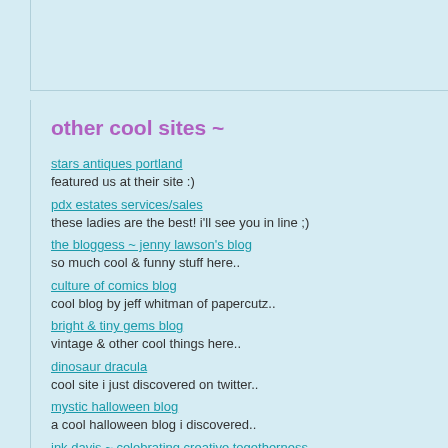other cool sites ~
stars antiques portland
featured us at their site :)
pdx estates services/sales
these ladies are the best! i'll see you in line ;)
the bloggess ~ jenny lawson's blog
so much cool & funny stuff here..
culture of comics blog
cool blog by jeff whitman of papercutz..
bright & tiny gems blog
vintage & other cool things here..
dinosaur dracula
cool site i just discovered on twitter..
mystic halloween blog
a cool halloween blog i discovered..
jnk davis ~ celebrating creative togetherness
a cool creative site..
view from the birdhouse
fun vintage to be found here..
vintage teen books
a great site full of young adult